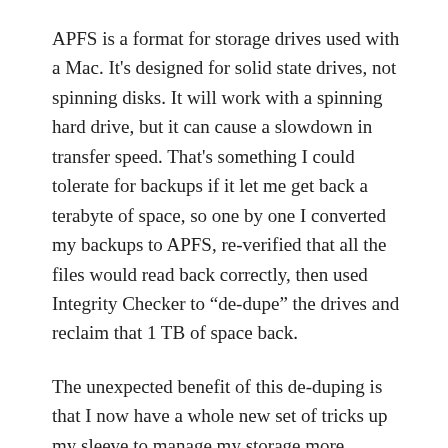APFS is a format for storage drives used with a Mac. It's designed for solid state drives, not spinning disks. It will work with a spinning hard drive, but it can cause a slowdown in transfer speed. That's something I could tolerate for backups if it let me get back a terabyte of space, so one by one I converted my backups to APFS, re-verified that all the files would read back correctly, then used Integrity Checker to “de-dupe” the drives and reclaim that 1 TB of space back.
The unexpected benefit of this de-duping is that I now have a whole new set of tricks up my sleeve to manage my storage more efficiently.
The end result is that I now know that every copy of my data is good, and I know how to check it as I go forward to ensure it stays good. This gives me more  confidence that my files will be there when I need them, which was